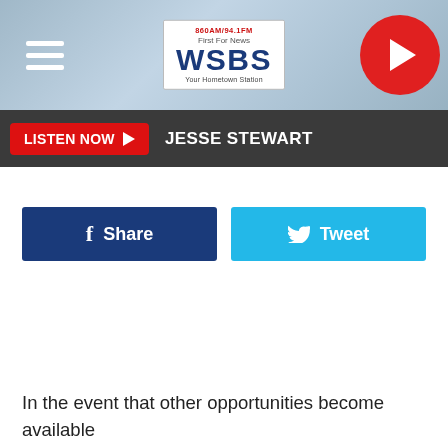[Figure (screenshot): WSBS radio station website header with logo showing 860AM/94.1FM, hamburger menu icon on left, red play button on right, and blue map background]
LISTEN NOW  JESSE STEWART
[Figure (screenshot): Facebook Share button (dark blue) and Twitter Tweet button (light blue) side by side]
In the event that other opportunities become available